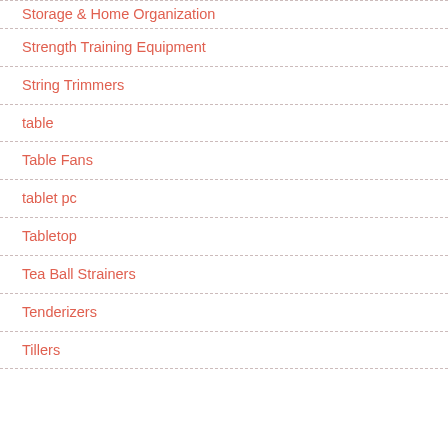Storage & Home Organization
Strength Training Equipment
String Trimmers
table
Table Fans
tablet pc
Tabletop
Tea Ball Strainers
Tenderizers
Tillers